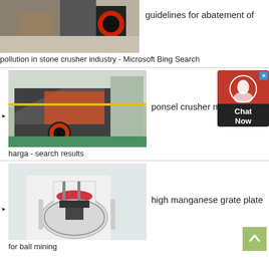[Figure (photo): Industrial stone crusher machinery in a factory setting]
guidelines for abatement of
pollution in stone crusher industry - Microsoft Bing Search
[Figure (photo): Impact crusher machine in a manufacturing facility]
ponsel crusher maroko
harga - search results
[Figure (photo): White cone/gyratory crusher machinery in a factory]
high manganese grate plate
for ball mining